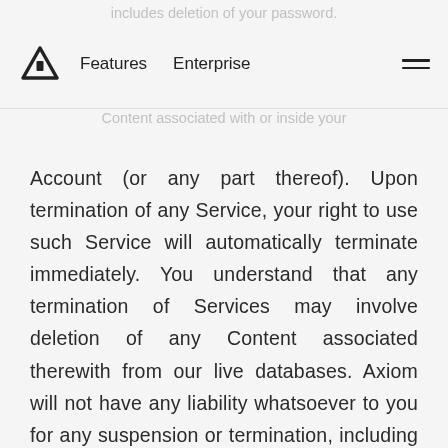includes deletion of your password.
Features   Enterprise
Content associated with or inside your
Account (or any part thereof). Upon termination of any Service, your right to use such Service will automatically terminate immediately. You understand that any termination of Services may involve deletion of any Content associated therewith from our live databases. Axiom will not have any liability whatsoever to you for any suspension or termination, including for deletion of Content. All provisions of the Agreement which by their nature should survive, shall survive termination